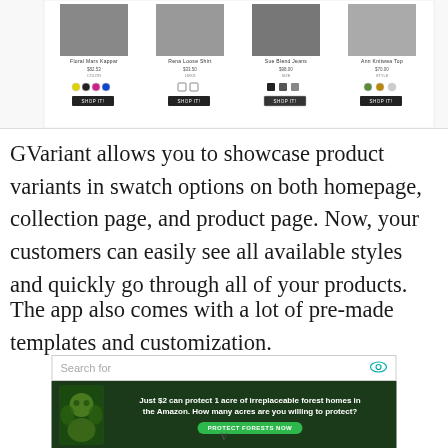[Figure (screenshot): Screenshot of a product grid showing four product cards with swatches (color circles and squares) and SHOP IT buttons]
GVariant allows you to showcase product variants in swatch options on both homepage, collection page, and product page. Now, your customers can easily see all available styles and quickly go through all of your products.
The app also comes with a lot of pre-made templates and customization.
[Figure (screenshot): Advertisement banner with a search bar labeled 'Search for' with a teal eye icon, and a dark green forest conservation ad reading 'Just $2 can protect 1 acre of irreplaceable forest homes in the Amazon. How many acres are you willing to protect?' with a green PROTECT FORESTS NOW button]
V